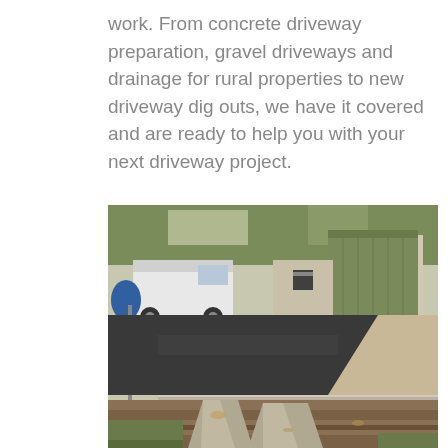work. From concrete driveway preparation, gravel driveways and drainage for rural properties to new driveway dig outs, we have it covered and are ready to help you with your next driveway project.
[Figure (photo): Outdoor photograph showing a freshly laid dark asphalt driveway area with concrete channel/strip in the foreground. In the background there are parked vehicles including a white van, a trailer, and a green corrugated metal shed/building. A metal fence post is visible on the left side. The scene appears to be a rural or semi-rural property.]